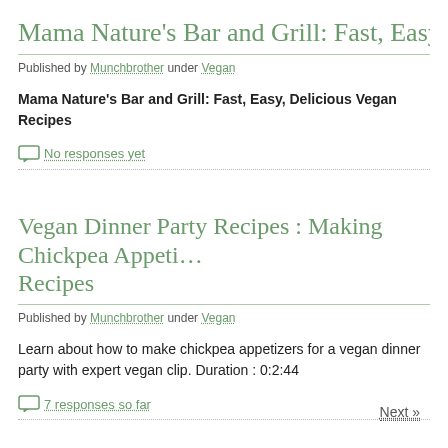Mama Nature's Bar and Grill: Fast, Easy, Delicious Veg…
Published by Munchbrother under Vegan
Mama Nature's Bar and Grill: Fast, Easy, Delicious Vegan Recipes
No responses yet
Vegan Dinner Party Recipes : Making Chickpea Appeti… Recipes
Published by Munchbrother under Vegan
Learn about how to make chickpea appetizers for a vegan dinner party with expert vegan clip. Duration : 0:2:44
7 responses so far
Next »